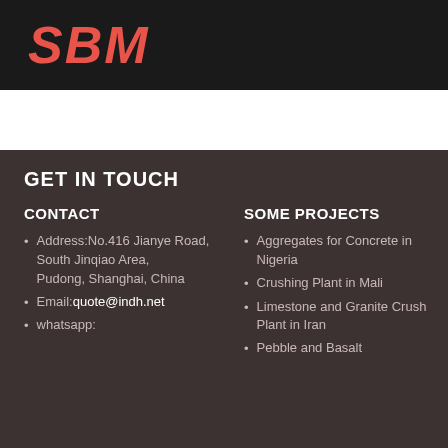[Figure (logo): SBM logo in red/coral italic script on black background]
GET IN TOUCH
CONTACT
SOME PROJECTS
Address:No.416 Jianye Road, South Jinqiao Area, Pudong, Shanghai, China
Email: quote@indh.net
whatsapp:
Aggregates for Concrete in Nigeria
Crushing Plant in Mali
Limestone and Granite Crush Plant in Iran
Pebble and Basalt